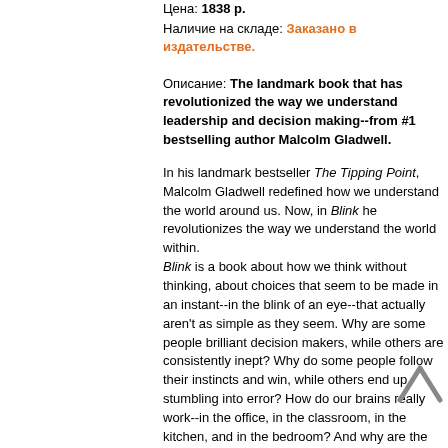Цена: 1838 р.
Наличие на складе: Заказано в издательстве.
Описание: The landmark book that has revolutionized the way we understand leadership and decision making--from #1 bestselling author Malcolm Gladwell.
In his landmark bestseller The Tipping Point, Malcolm Gladwell redefined how we understand the world around us. Now, in Blink he revolutionizes the way we understand the world within. Blink is a book about how we think without thinking, about choices that seem to be made in an instant--in the blink of an eye--that actually aren't as simple as they seem. Why are some people brilliant decision makers, while others are consistently inept? Why do some people follow their instincts and win, while others end up stumbling into error? How do our brains really work--in the office, in the classroom, in the kitchen, and in the bedroom? And why are the best decisions often those that are impossible to explain to others? In Blink we meet the psychologist who has learned to predict whether a marriage will last...